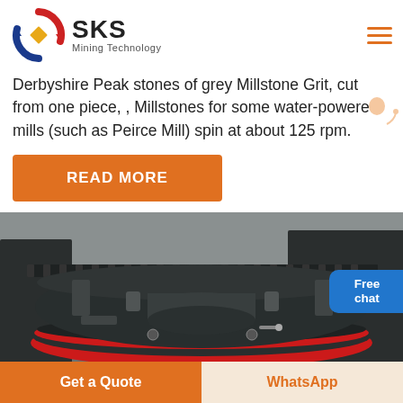SKS Mining Technology
Derbyshire Peak stones of grey Millstone Grit, cut from one piece, , Millstones for some water-powered mills (such as Peirce Mill) spin at about 125 rpm.
READ MORE
[Figure (photo): Industrial mining or grinding machinery with large circular black and red metal components, gears, and mechanical parts in a factory setting.]
Get a Quote
WhatsApp